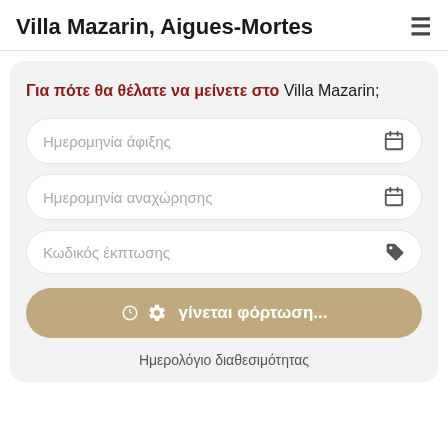Villa Mazarin, Aigues-Mortes
Για πότε θα θέλατε να μείνετε στο Villa Mazarin;
Ημερομηνία άφιξης
Ημερομηνία αναχώρησης
Κωδικός έκπτωσης
⚙ γίνεται φόρτωση...
Ημερολόγιο διαθεσιμότητας